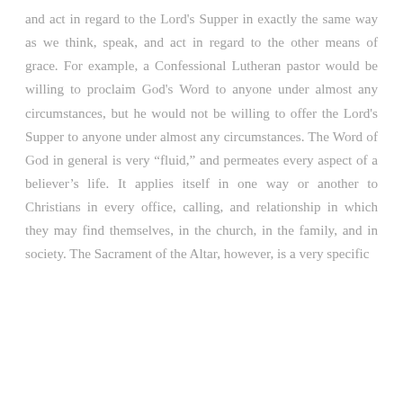and act in regard to the Lord's Supper in exactly the same way as we think, speak, and act in regard to the other means of grace. For example, a Confessional Lutheran pastor would be willing to proclaim God's Word to anyone under almost any circumstances, but he would not be willing to offer the Lord's Supper to anyone under almost any circumstances. The Word of God in general is very “fluid,” and permeates every aspect of a believer’s life. It applies itself in one way or another to Christians in every office, calling, and relationship in which they may find themselves, in the church, in the family, and in society. The Sacrament of the Altar, however, is a very specific